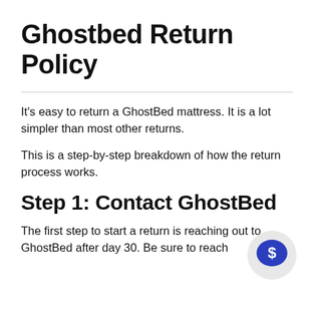Ghostbed Return Policy
It’s easy to return a GhostBed mattress. It is a lot simpler than most other returns.
This is a step-by-step breakdown of how the return process works.
Step 1: Contact GhostBed
The first step to start a return is reaching out to GhostBed after day 30. Be sure to reach
[Figure (illustration): A circular chat bubble icon with a dollar sign inside, in blue on a light gray circular background, positioned in the lower right area of the page.]